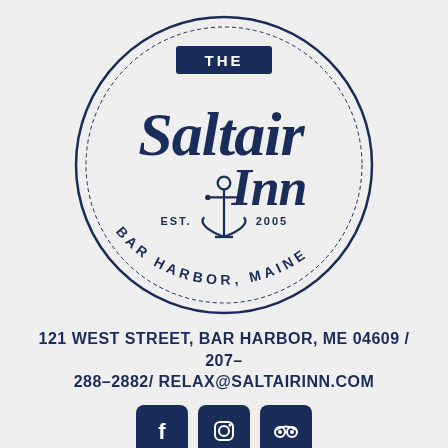[Figure (logo): The Saltair Inn circular logo with script lettering, anchor graphic, EST. 2005, Bar Harbor, Maine]
121 WEST STREET, BAR HARBOR, ME 04609 / 207-288-2882/ RELAX@SALTAIRINN.COM
[Figure (infographic): Three social media icons: Facebook, Instagram, TripAdvisor on dark navy rounded square backgrounds]